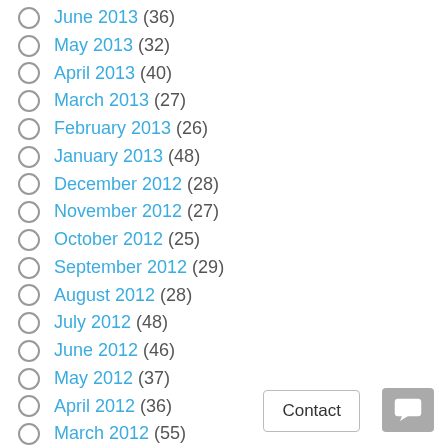June 2013 (36)
May 2013 (32)
April 2013 (40)
March 2013 (27)
February 2013 (26)
January 2013 (48)
December 2012 (28)
November 2012 (27)
October 2012 (25)
September 2012 (29)
August 2012 (28)
July 2012 (48)
June 2012 (46)
May 2012 (37)
April 2012 (36)
March 2012 (55)
February 2012 (55)
January 2012 (82)
December 2011 (36)